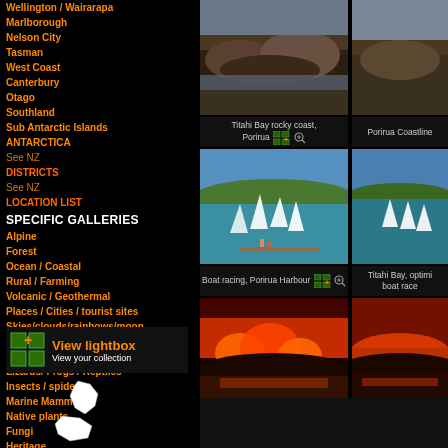Wellington / Wairarapa
Marlborough
Nelson City
Tasman
West Coast
Canterbury
Otago
Southland
Sub Antarctic Islands
ANTARCTICA
See NZ DISTRICTS
See NZ LOCATION LIST
SPECIFIC GALLERIES
Alpine
Forest
Ocean / Coastal
Rural / Farming
Volcanic / Geothermal
Places / Cities / tourist sites
Skies/clouds/rainbows/moon
Birds
Animals
Lizards/ Frogs / Reptiles
Insects / spiders
Marine Mammals
Native plants
Fungi
Heritage
Recreation
Environmental
Traffic / roads / cars
View lightbox - View your collection
[Figure (photo): Titahi Bay rocky coast, Porirua - coastal rocks photo]
Titahi Bay rocky coast, Porirua
[Figure (photo): Porirua Coastline photo]
Porirua Coastline
[Figure (photo): Boat racing, Porirua Harbour - sailing boats photo]
Boat racing, Porirua Harbour
[Figure (photo): Titahi Bay, optimist boat race photo]
Titahi Bay, optimist boat race
[Figure (photo): Fire / burning landscape photo]
[Figure (photo): Fire at night reflection photo]